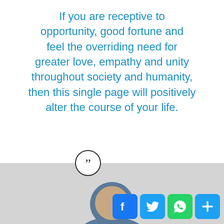If you are receptive to opportunity, good fortune and feel the overriding need for greater love, empathy and unity throughout society and humanity, then this single page will positively alter the course of your life.
[Figure (illustration): Closing quotation mark icon in a circle, above a grey photo area showing a person's head/shoulders, with social media share buttons (Facebook, Twitter, WhatsApp, Plus) in the bottom right corner.]